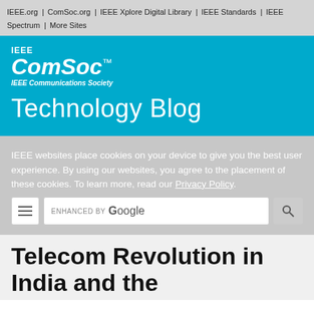IEEE.org | ComSoc.org | IEEE Xplore Digital Library | IEEE Standards | IEEE Spectrum | More Sites
[Figure (logo): IEEE ComSoc IEEE Communications Society logo with 'Technology Blog' text on blue background]
IEEE websites place cookies on your device to give you the best user experience. By using our websites, you agree to the placement of these cookies. To learn more, read our Privacy Policy.
Telecom Revolution in India and the